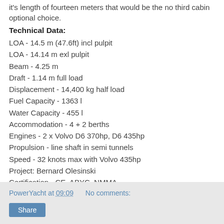it's length of fourteen meters that would be the no third cabin optional choice.
Technical Data:
LOA - 14.5 m (47.6ft) incl pulpit
LOA - 14.14 m exl pulpit
Beam - 4.25 m
Draft - 1.14 m full load
Displacement - 14,400 kg half load
Fuel Capacity - 1363 l
Water Capacity - 455 l
Accommodation - 4 + 2 berths
Engines - 2 x Volvo D6 370hp, D6 435hp
Propulsion - line shaft in semi tunnels
Speed - 32 knots max with Volvo 435hp
Project: Bernard Olesinski
Certification - CE, ABYC, NMMA
www.princessyachts.com
PowerYacht at 09:09   No comments:   Share